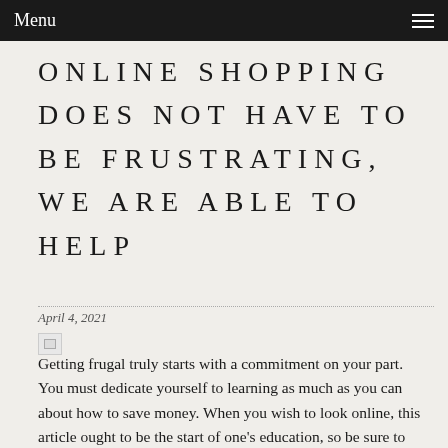Menu
ONLINE SHOPPING DOES NOT HAVE TO BE FRUSTRATING, WE ARE ABLE TO HELP
April 4, 2021
[Figure (photo): Broken/missing image placeholder]
Getting frugal truly starts with a commitment on your part. You must dedicate yourself to learning as much as you can about how to save money. When you wish to look online, this article ought to be the start of one's education, so be sure to read it completely.